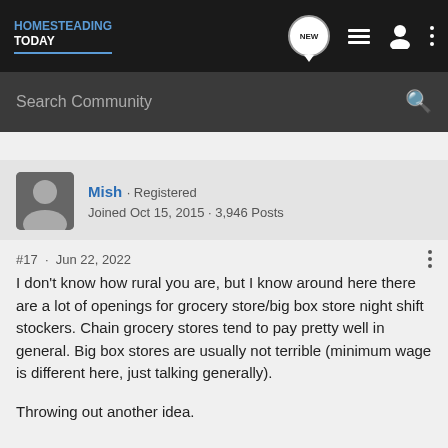HOMESTEADING TODAY
Search Community
Mish · Registered
Joined Oct 15, 2015 · 3,946 Posts
#17 · Jun 22, 2022
I don't know how rural you are, but I know around here there are a lot of openings for grocery store/big box store night shift stockers. Chain grocery stores tend to pay pretty well in general. Big box stores are usually not terrible (minimum wage is different here, just talking generally).

Throwing out another idea.